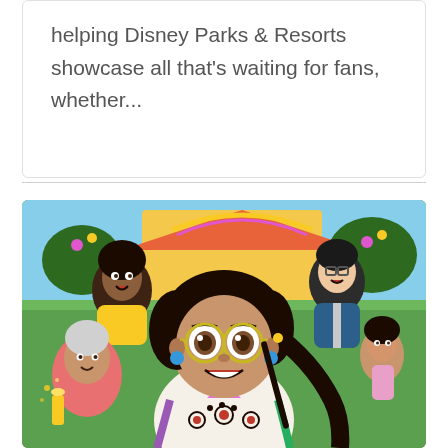helping Disney Parks & Resorts showcase all that's waiting for fans, whether...
[Figure (illustration): Animated illustration from Disney's Encanto movie showing Mirabel (main character with round glasses, dark curly hair, white embroidered top, blue earrings) in the center, surrounded by her family members including an older woman in pink, a man in yellow, a man in a suit, and a girl on the right, with a colorful house in the background.]